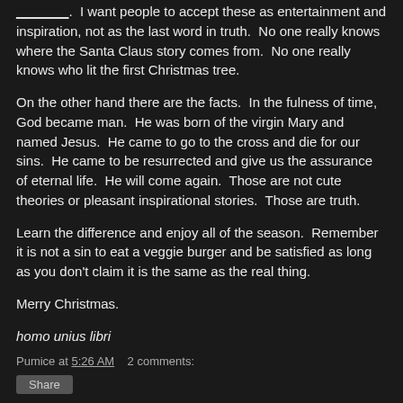_______.  I want people to accept these as entertainment and inspiration, not as the last word in truth.  No one really knows where the Santa Claus story comes from.  No one really knows who lit the first Christmas tree.
On the other hand there are the facts.  In the fulness of time, God became man.  He was born of the virgin Mary and named Jesus.  He came to go to the cross and die for our sins.  He came to be resurrected and give us the assurance of eternal life.  He will come again.  Those are not cute theories or pleasant inspirational stories.  Those are truth.
Learn the difference and enjoy all of the season.  Remember it is not a sin to eat a veggie burger and be satisfied as long as you don't claim it is the same as the real thing.
Merry Christmas.
homo unius libri
Pumice at 5:26 AM    2 comments: